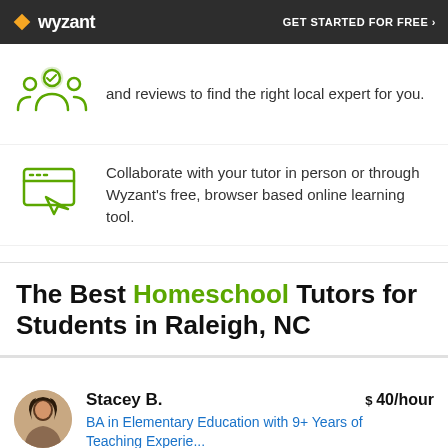wyzant | GET STARTED FOR FREE ›
and reviews to find the right local expert for you.
Collaborate with your tutor in person or through Wyzant's free, browser based online learning tool.
Only pay for the time you need. No subscriptions, no upfront costs. Just affordable results nearby.
The Best Homeschool Tutors for Students in Raleigh, NC
Stacey B.   $ 40/hour
BA in Elementary Education with 9+ Years of Teaching Experience